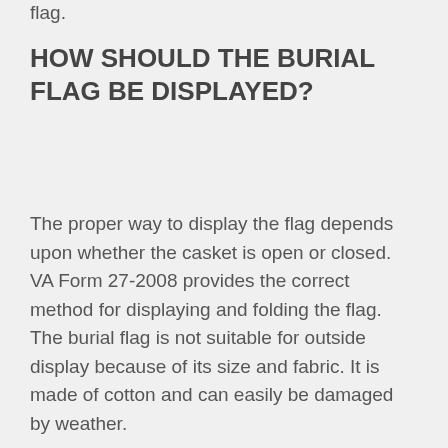flag.
HOW SHOULD THE BURIAL FLAG BE DISPLAYED?
The proper way to display the flag depends upon whether the casket is open or closed. VA Form 27-2008 provides the correct method for displaying and folding the flag. The burial flag is not suitable for outside display because of its size and fabric. It is made of cotton and can easily be damaged by weather.